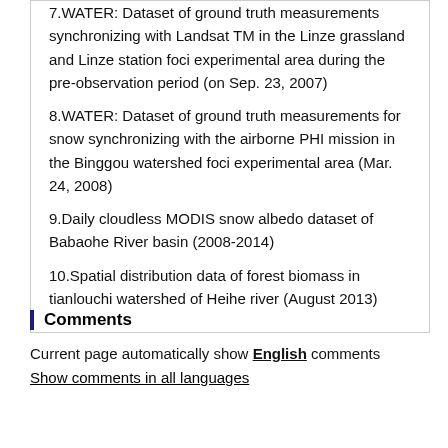7.WATER: Dataset of ground truth measurements synchronizing with Landsat TM in the Linze grassland and Linze station foci experimental area during the pre-observation period (on Sep. 23, 2007)
8.WATER: Dataset of ground truth measurements for snow synchronizing with the airborne PHI mission in the Binggou watershed foci experimental area (Mar. 24, 2008)
9.Daily cloudless MODIS snow albedo dataset of Babaohe River basin (2008-2014)
10.Spatial distribution data of forest biomass in tianlouchi watershed of Heihe river (August 2013)
Comments
Current page automatically show English comments    Show comments in all languages